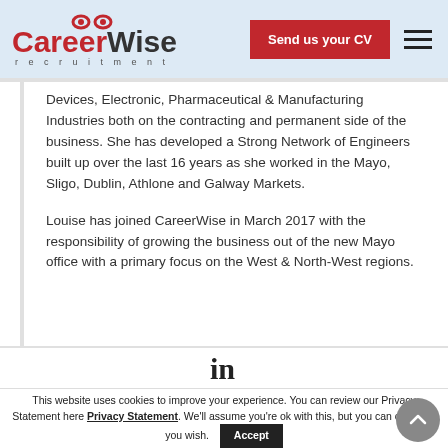CareerWise recruitment — Send us your CV
Devices, Electronic, Pharmaceutical & Manufacturing Industries both on the contracting and permanent side of the business. She has developed a Strong Network of Engineers built up over the last 16 years as she worked in the Mayo, Sligo, Dublin, Athlone and Galway Markets.
Louise has joined CareerWise in March 2017 with the responsibility of growing the business out of the new Mayo office with a primary focus on the West & North-West regions.
[Figure (logo): LinkedIn logo icon]
This website uses cookies to improve your experience. You can review our Privacy Statement here Privacy Statement. We'll assume you're ok with this, but you can opt-out if you wish. Accept